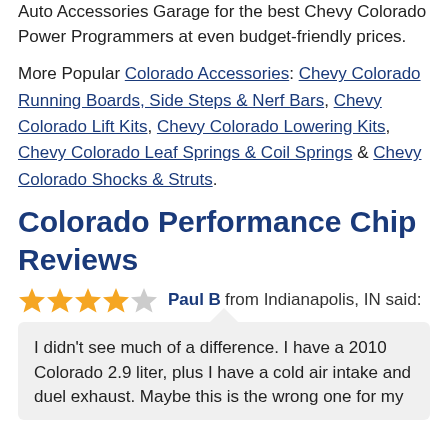Auto Accessories Garage for the best Chevy Colorado Power Programmers at even budget-friendly prices.
More Popular Colorado Accessories: Chevy Colorado Running Boards, Side Steps & Nerf Bars, Chevy Colorado Lift Kits, Chevy Colorado Lowering Kits, Chevy Colorado Leaf Springs & Coil Springs & Chevy Colorado Shocks & Struts.
Colorado Performance Chip Reviews
★★★★☆ Paul B from Indianapolis, IN said:
I didn't see much of a difference. I have a 2010 Colorado 2.9 liter, plus I have a cold air intake and duel exhaust. Maybe this is the wrong one for my